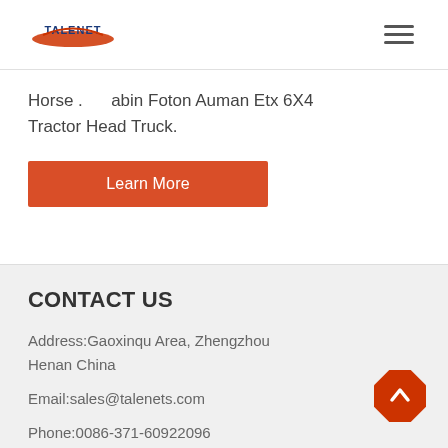[Figure (logo): TALENET company logo with red ellipse and blue text]
Horse . abin Foton Auman Etx 6X4 Tractor Head Truck.
Learn More
CONTACT US
Address:Gaoxinqu Area, Zhengzhou Henan China
Email:sales@talenets.com
Phone:0086-371-60922096
ABOUT US